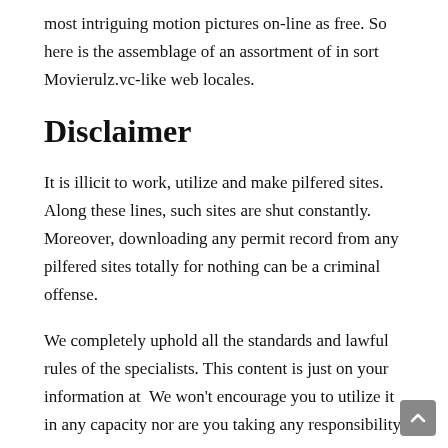most intriguing motion pictures on-line as free. So here is the assemblage of an assortment of in sort Movierulz.vc-like web locales.
Disclaimer
It is illicit to work, utilize and make pilfered sites. Along these lines, such sites are shut constantly. Moreover, downloading any permit record from any pilfered sites totally for nothing can be a criminal offense.
We completely uphold all the standards and lawful rules of the specialists. This content is just on your information at  We won't encourage you to utilize it in any capacity nor are you taking any responsibility